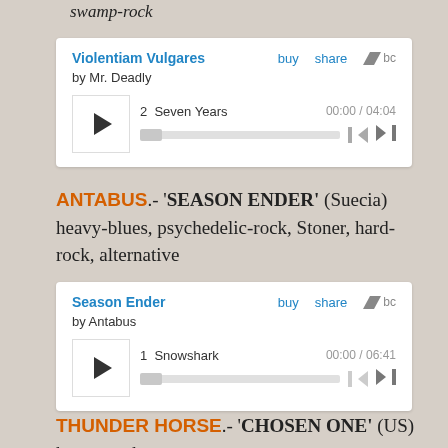swamp-rock
[Figure (screenshot): Bandcamp embedded music player for 'Violentiam Vulgares' by Mr. Deadly, showing track 2: Seven Years, time 00:00 / 04:04, with play button and progress bar]
ANTABUS.- 'SEASON ENDER' (Suecia) heavy-blues, psychedelic-rock, Stoner, hard-rock, alternative
[Figure (screenshot): Bandcamp embedded music player for 'Season Ender' by Antabus, showing track 1: Snowshark, time 00:00 / 06:41, with play button and progress bar]
THUNDER HORSE.- 'CHOSEN ONE' (US) heavy-rock,